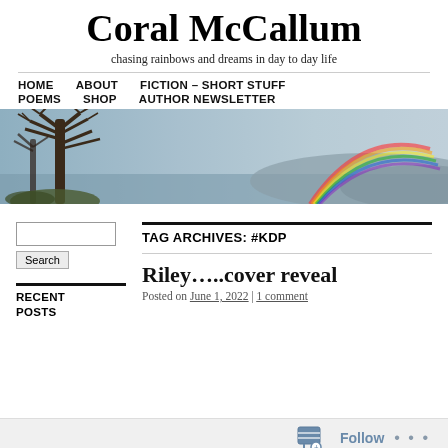Coral McCallum
chasing rainbows and dreams in day to day life
HOME   ABOUT   FICTION – SHORT STUFF   POEMS   SHOP   AUTHOR NEWSLETTER
[Figure (photo): Banner photo of a bare tree in winter with a rainbow visible in a grey-blue sky over water and hills]
TAG ARCHIVES: #KDP
Riley…..cover reveal
Posted on June 1, 2022 | 1 comment
RECENT POSTS